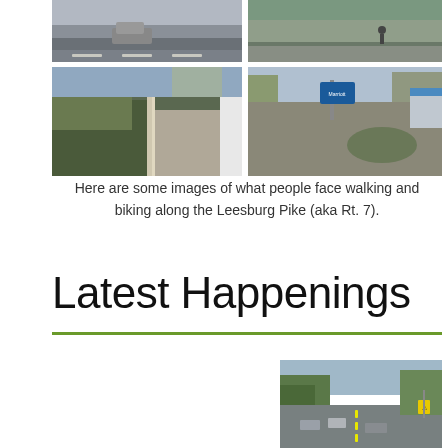[Figure (photo): Grid of four photos showing conditions for pedestrians and cyclists along Leesburg Pike (Rt. 7): top-left shows a road with a car, top-right shows a road with a person walking, bottom-left shows a narrow sidewalk with a fence and plantings, bottom-right shows a commercial parking lot with a roundabout and signage.]
Here are some images of what people face walking and biking along the Leesburg Pike (aka Rt. 7).
Latest Happenings
[Figure (photo): Photo of a multi-lane road intersection with cars, trees, and a yellow pedestrian crossing sign.]